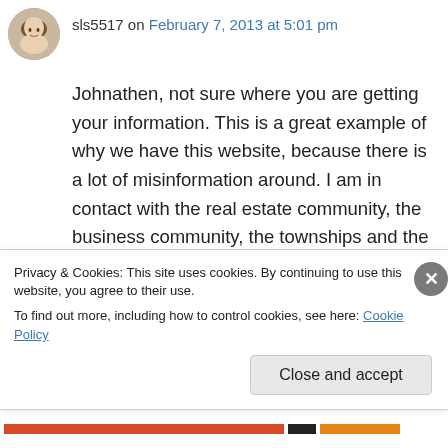[Figure (photo): Circular avatar photo of a woman with brown hair]
sls5517 on February 7, 2013 at 5:01 pm
Johnathen, not sure where you are getting your information. This is a great example of why we have this website, because there is a lot of misinformation around. I am in contact with the real estate community, the business community, the townships and the long term planning committee of LBI. These are the official numbers: Over 90% of rental homes will be ready for the summer season. I have spoken to
Privacy & Cookies: This site uses cookies. By continuing to use this website, you agree to their use.
To find out more, including how to control cookies, see here: Cookie Policy
Close and accept